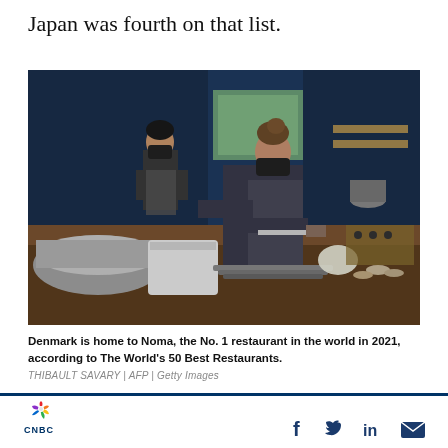Japan was fourth on that list.
[Figure (photo): Two chefs wearing masks and aprons working in a modern restaurant kitchen. One chef in the foreground is cutting food on a counter with stacked plates and small bowls nearby. Another chef stands in the background near kitchen equipment. The kitchen features dark blue walls, wooden counters, and various cooking implements.]
Denmark is home to Noma, the No. 1 restaurant in the world in 2021, according to The World's 50 Best Restaurants.
THIBAULT SAVARY | AFP | Getty Images
CNBC [logo] | Facebook | Twitter | LinkedIn | Email